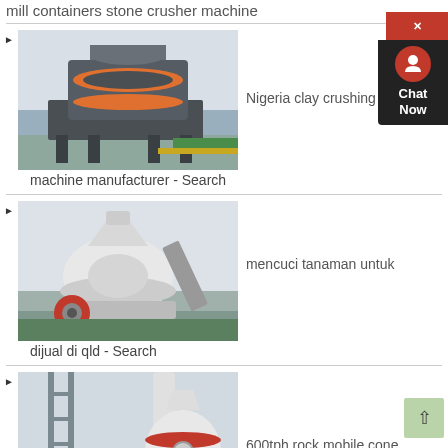mill containers stone crusher machine
[Figure (photo): Industrial stone crusher machine (VSI crusher) in a factory setting, gray with orange accent ring]
Nigeria clay crushing
machine manufacturer - Search
[Figure (photo): Cone crusher machine in a factory, white with red wheel]
mencuci tanaman untuk
dijual di qld - Search
[Figure (photo): Industrial mill/grinder machine outdoors on a structure, white with red accent]
600tph rock mobile cone